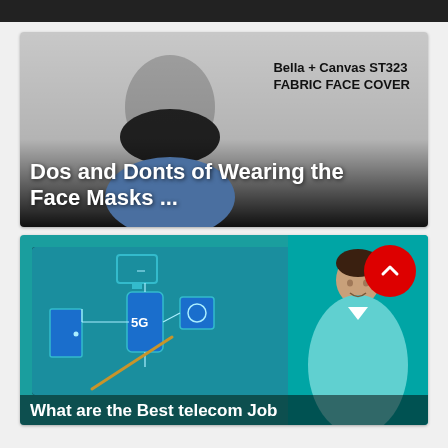[Figure (screenshot): Dark top navigation bar]
[Figure (screenshot): Video thumbnail showing a man wearing a black Bella + Canvas ST323 fabric face cover with text 'Bella + Canvas ST323 FABRIC FACE COVER' on the right and 'Dos and Donts of Wearing the Face Masks ...' overlaid at the bottom]
[Figure (screenshot): Video thumbnail showing a 5G network diagram with connected devices (phone, monitor, appliances, door) on the left panel and a presenter figure on a teal background on the right, with text 'What are the Best telecom Job' partially visible at the bottom, and a red scroll-up button in the top right]